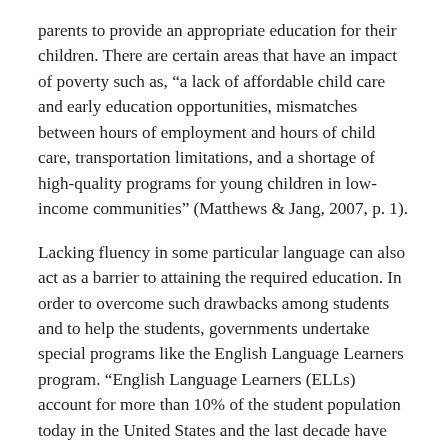parents to provide an appropriate education for their children. There are certain areas that have an impact of poverty such as, “a lack of affordable child care and early education opportunities, mismatches between hours of employment and hours of child care, transportation limitations, and a shortage of high-quality programs for young children in low-income communities” (Matthews & Jang, 2007, p. 1).
Lacking fluency in some particular language can also act as a barrier to attaining the required education. In order to overcome such drawbacks among students and to help the students, governments undertake special programs like the English Language Learners program. “English Language Learners (ELLs) account for more than 10% of the student population today in the United States and the last decade have become increasingly isolated from the English proficient students, whom they remain behind on standard measures of achievement” (Arias & Welner, n.d., para.